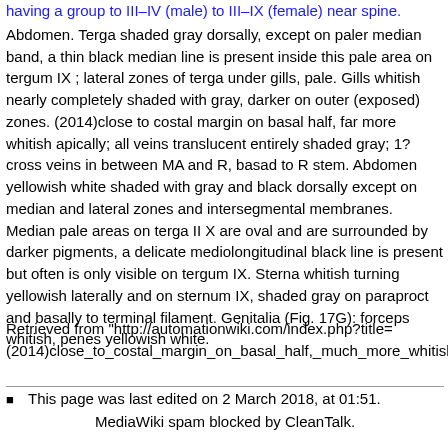having a group to III–IV (male) to III–IX (female) near spine. Abdomen. Terga shaded gray dorsally, except on paler median band, a thin black median line is present inside this pale area on tergum IX ; lateral zones of terga under gills, pale. Gills whitish nearly completely shaded with gray, darker on outer (exposed) zones. (2014)close to costal margin on basal half, far more whitish apically; all veins translucent entirely shaded gray; 1? cross veins in between MA and R, basad to R stem. Abdomen yellowish white shaded with gray and black dorsally except on median and lateral zones and intersegmental membranes. Median pale areas on terga II X are oval and are surrounded by darker pigments, a delicate mediolongitudinal black line is present but often is only visible on tergum IX. Sterna whitish turning yellowish laterally and on sternum IX, shaded gray on paraproct and basally to terminal filament. Genitalia (Fig. 17G): forceps whitish, penes yellowish white.
Retrieved from "http://automationwiki.com/index.php?title=(2014)close_to_costal_margin_on_basal_half,_much_more_whitish_a
This page was last edited on 2 March 2018, at 01:51.
MediaWiki spam blocked by CleanTalk.